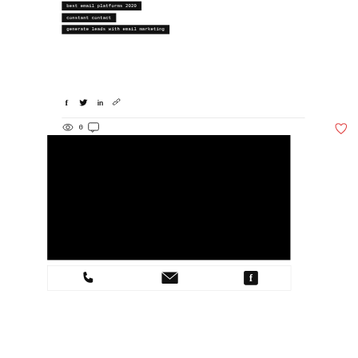best email platforms 2020
constant contact
generate leads with email marketing
[Figure (infographic): Social share icons row: Facebook, Twitter, LinkedIn, Link/chain icon]
[Figure (infographic): Stats row with eye/views icon showing 0 views, comment icon, and a red heart/like icon on the right]
[Figure (photo): Large black rectangle, possibly a video embed or image placeholder]
[Figure (infographic): Footer bar with phone icon, email/envelope icon, and Facebook icon]